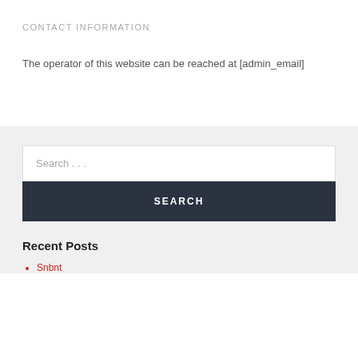CONTACT INFORMATION
The operator of this website can be reached at [admin_email]
Search . . .
SEARCH
Recent Posts